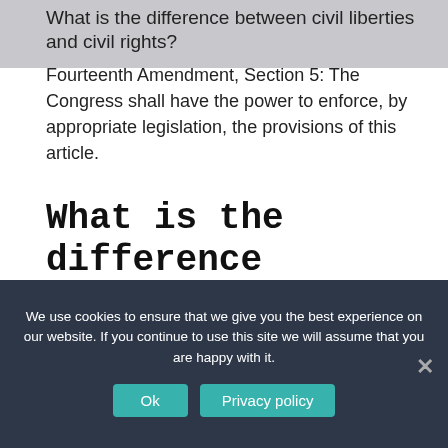What is the difference between civil liberties and civil rights?
Fourteenth Amendment, Section 5: The Congress shall have the power to enforce, by appropriate legislation, the provisions of this article.
What is the difference between civil rights and civil liberties Chapter 19?
We use cookies to ensure that we give you the best experience on our website. If you continue to use this site we will assume that you are happy with it.